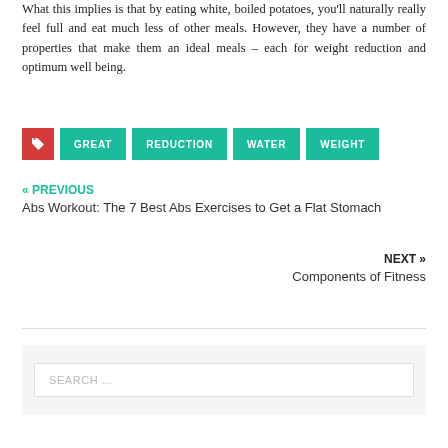What this implies is that by eating white, boiled potatoes, you'll naturally really feel full and eat much less of other meals. However, they have a number of properties that make them an ideal meals – each for weight reduction and optimum well being.
GREAT
REDUCTION
WATER
WEIGHT
« PREVIOUS
Abs Workout: The 7 Best Abs Exercises to Get a Flat Stomach
NEXT »
Components of Fitness
SEARCH …